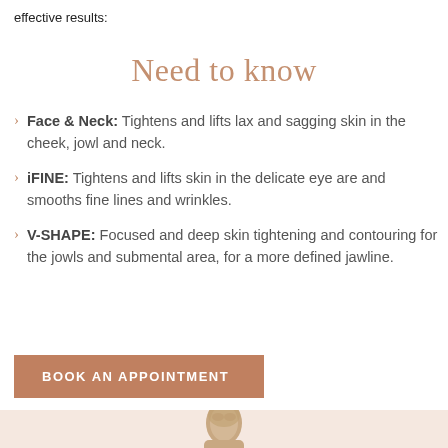effective results:
Need to know
Face & Neck: Tightens and lifts lax and sagging skin in the cheek, jowl and neck.
iFINE: Tightens and lifts skin in the delicate eye area and smooths fine lines and wrinkles.
V-SHAPE: Focused and deep skin tightening and contouring for the jowls and submental area, for a more defined jawline.
BOOK AN APPOINTMENT
[Figure (photo): Partial photo of a man's face/head visible at the bottom of the page]